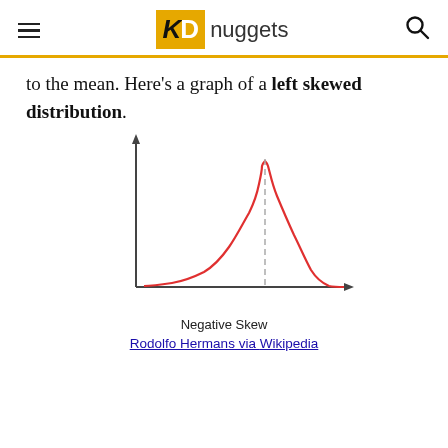KD nuggets
to the mean. Here's a graph of a left skewed distribution.
[Figure (continuous-plot): A left skewed (negative skew) distribution curve shown in red, with a dashed vertical line near the peak. The tail extends to the left. Axes are shown as arrows.]
Negative Skew
Rodolfo Hermans via Wikipedia